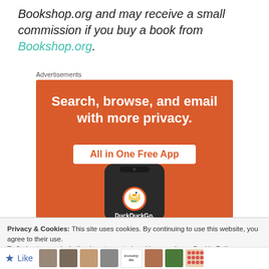Bookshop.org and may receive a small commission if you buy a book from Bookshop.org.
Advertisements
[Figure (screenshot): DuckDuckGo advertisement banner on orange background showing 'Search, browse, and email with more privacy. All in One Free App' with a phone showing DuckDuckGo logo]
Privacy & Cookies: This site uses cookies. By continuing to use this website, you agree to their use.
To find out more, including how to control cookies, see here: Cookie Policy
[Figure (other): Bottom bar with Like button and small thumbnail images]